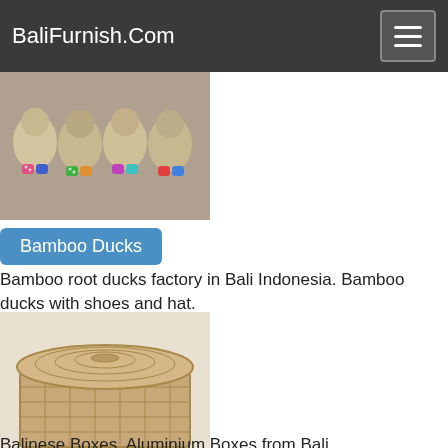BaliFurnish.Com
[Figure (photo): Bamboo duck figurines wearing colorful polka-dot shoes and hats]
Bamboo Ducks
Bamboo root ducks factory in Bali Indonesia. Bamboo ducks with shoes and hat.
[Figure (photo): Aluminium decorative box with woven pattern lid, Balinese style]
Aluminium Boxes
Balinese Boxes. Aluminium Boxes from Bali
[Figure (photo): Partially visible product image at bottom of page]